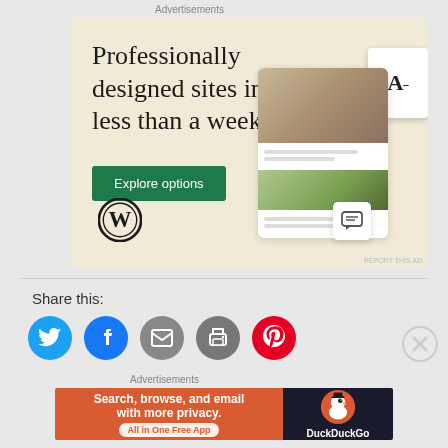Advertisements
[Figure (illustration): WordPress advertisement banner with cream/tan background. Large serif text reads 'Professionally designed sites in less than a week'. Green 'Explore options' button. WordPress logo (circle with W). Phone/tablet mockup showing website design on right side.]
Share this:
[Figure (infographic): Row of social sharing icon buttons: Twitter (blue circle with bird), Facebook (blue circle with f), Email (gray circle with envelope), Print (gray circle with printer), Pinterest (red circle with P)]
[Figure (illustration): X close/dismiss button circle on right side]
Advertisements
[Figure (illustration): DuckDuckGo advertisement. Orange/red left panel: 'Search, browse, and email with more privacy.' with 'All in One Free App' pill button. Dark right panel with DuckDuckGo duck logo and brand name.]